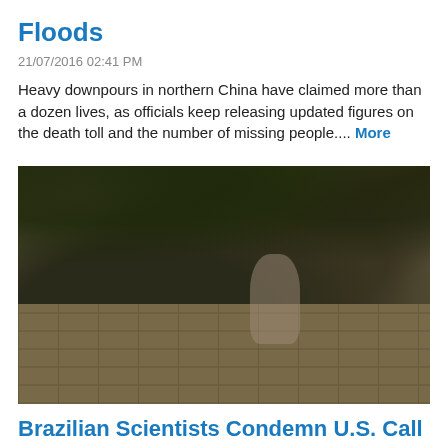Floods
21/07/2016 02:41 PM
Heavy downpours in northern China have claimed more than a dozen lives, as officials keep releasing updated figures on the death toll and the number of missing people.... More
[Figure (photo): Ruins of an ancient stone structure overgrown with vegetation, with a person standing on the stone steps.]
Brazilian Scientists Condemn U.S. Call to Contact Lost Tribes